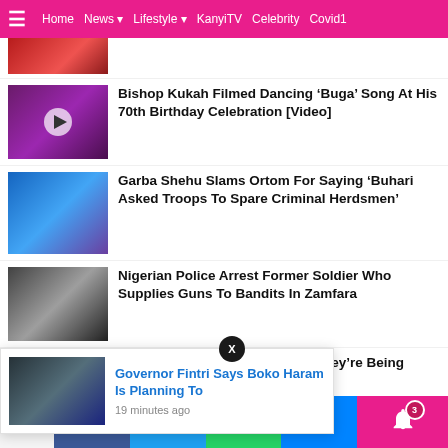Home | News | Lifestyle | KanyiTV | Celebrity | Covid1
(partial top news item with thumbnail)
Bishop Kukah Filmed Dancing ‘Buga’ Song At His 70th Birthday Celebration [Video]
Garba Shehu Slams Ortom For Saying ‘Buhari Asked Troops To Spare Criminal Herdsmen’
Nigerian Police Arrest Former Soldier Who Supplies Guns To Bandits In Zamfara
Nigerians Arriving Dubai Says They’re Being ...rts Seized
Governor Fintri Says Boko Haram Is Planning To
19 minutes ago
14 Shares | Facebook | Twitter | WhatsApp | Messenger | Bell (3)